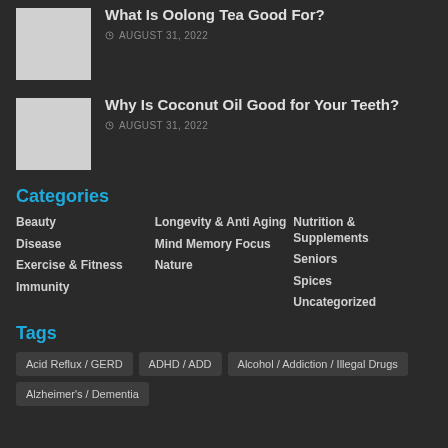[Figure (photo): Thumbnail image placeholder for oolong tea article]
What Is Oolong Tea Good For?
AUGUST 31, 2022
[Figure (photo): Thumbnail image placeholder for coconut oil article]
Why Is Coconut Oil Good for Your Teeth?
AUGUST 31, 2022
Categories
Beauty
Disease
Exercise & Fitness
Immunity
Longevity & Anti Aging
Mind Memory Focus
Nature
Nutrition & Supplements
Seniors
Spices
Uncategorized
Tags
Acid Reflux / GERD
ADHD / ADD
Alcohol / Addiction / Illegal Drugs
Alzheimer's / Dementia